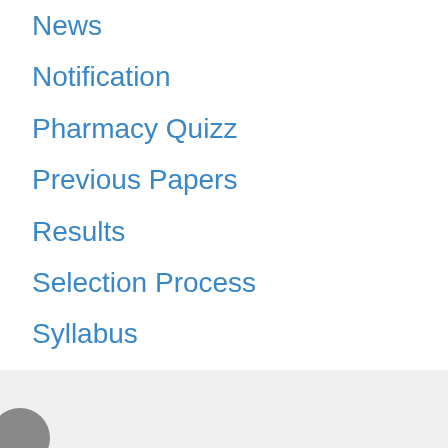News
Notification
Pharmacy Quizz
Previous Papers
Results
Selection Process
Syllabus
Time Table
Uncategorized
University Results